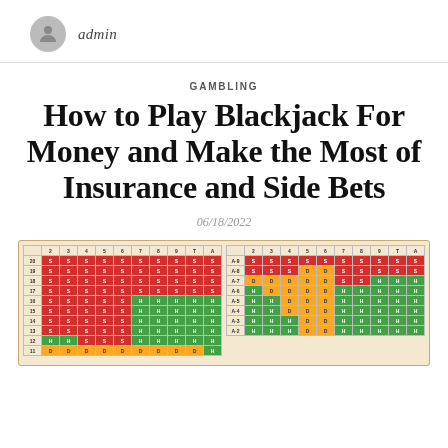admin
GAMBLING
How to Play Blackjack For Money and Make the Most of Insurance and Side Bets
06/18/2022
[Figure (table-as-image): Blackjack basic strategy charts showing two color-coded tables. Left table shows hard totals (11-20) vs dealer up-card (2-A). Right table shows soft totals and pairs (A-2 through A-9) vs dealer up-card (2-A). Cells are color-coded: red=Stand(S), green=Hit(H), yellow=Double(D).]